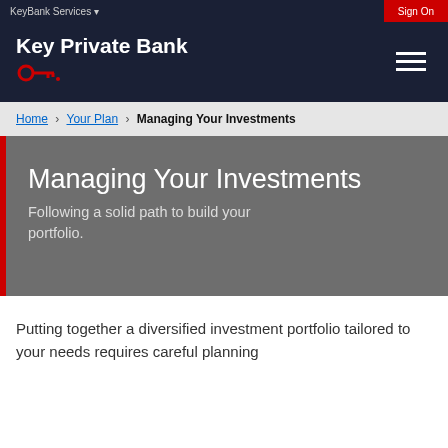KeyBank Services | Sign On
[Figure (logo): Key Private Bank logo with red key icon]
Home > Your Plan > Managing Your Investments
Managing Your Investments
Following a solid path to build your portfolio.
Putting together a diversified investment portfolio tailored to your needs requires careful planning